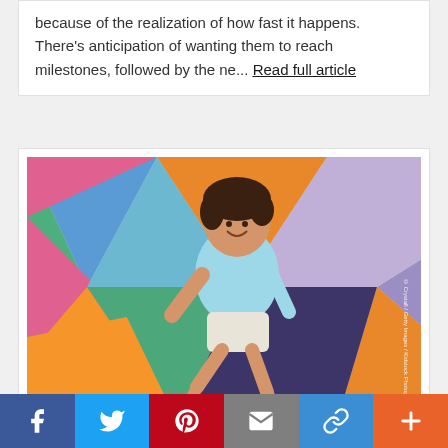because of the realization of how fast it happens. There's anticipation of wanting them to reach milestones, followed by the ne... Read full article
[Figure (photo): A young boy jumping joyfully in front of a colorful geometric mural wall with triangles in blue, green, pink, orange, purple, and yellow colors. The boy is wearing a light blue t-shirt and white shorts.]